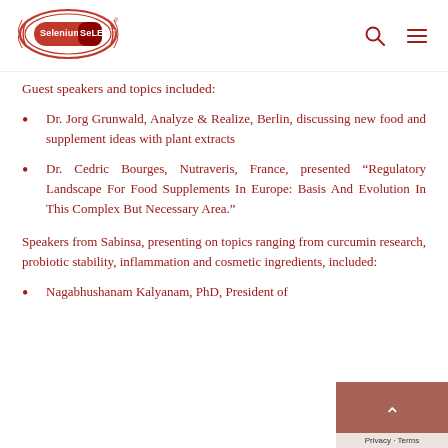Selenium SeLECT logo with search and menu icons
Guest speakers and topics included:
Dr. Jorg Grunwald, Analyze & Realize, Berlin, discussing new food and supplement ideas with plant extracts
Dr. Cedric Bourges, Nutraveris, France, presented “Regulatory Landscape For Food Supplements In Europe: Basis And Evolution In This Complex But Necessary Area.”
Speakers from Sabinsa, presenting on topics ranging from curcumin research, probiotic stability, inflammation and cosmetic ingredients, included:
Nagabhushanam Kalyanam, PhD, President of